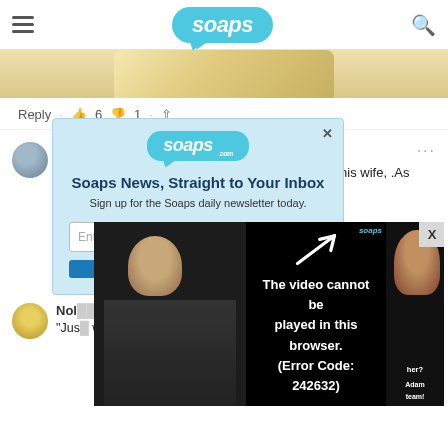soaps (navigation header with hamburger menu and search icon)
[Figure (photo): Partial image visible at top of page, showing a tan/golden object]
Reply · 👍 6 👎 1 · share
rmills807
I wish the... . There is no way a ma... to find his wife, .As ... a shrink.
Reply ·
Nol...
"Jus... wou... approach (r... cookies) tha...
[Figure (screenshot): Newsletter signup modal: Soaps News, Straight to Your Inbox. Sign up for the Soaps daily newsletter today. Email input and submit button.]
[Figure (screenshot): Video player error overlay showing: The video cannot be played in this browser. (Error Code: 242632)]